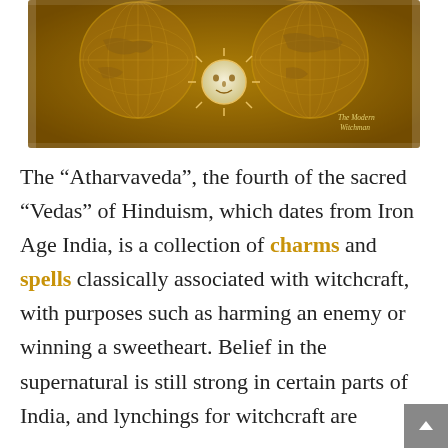[Figure (illustration): Antique golden world map on aged parchment with a sun face motif in the center, hemispheric projection, warm amber and brown tones. Watermark text in lower right reads 'The Modern Witchman'.]
The "Atharvaveda", the fourth of the sacred "Vedas" of Hinduism, which dates from Iron Age India, is a collection of charms and spells classically associated with witchcraft, with purposes such as harming an enemy or winning a sweetheart. Belief in the supernatural is still strong in certain parts of India, and lynchings for witchcraft are